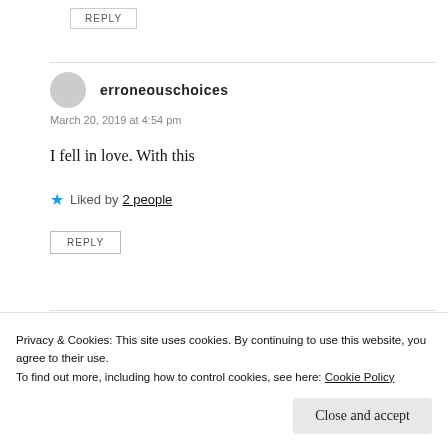REPLY
erroneouschoices
March 20, 2019 at 4:54 pm
I fell in love. With this
Liked by 2 people
REPLY
Watt
Privacy & Cookies: This site uses cookies. By continuing to use this website, you agree to their use.
To find out more, including how to control cookies, see here: Cookie Policy
Close and accept